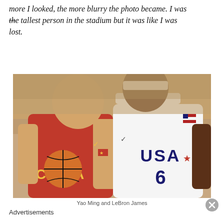more I looked, the more blurry the photo became. I was the tallest person in the stadium but it was like I was lost.
[Figure (photo): Basketball players during a game — one wearing a red China jersey holding a basketball, and one wearing a white USA jersey number 6, with a crowd in the background.]
Yao Ming and LeBron James
Advertisements